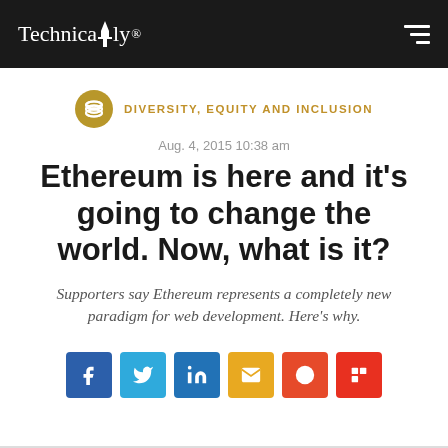Technically
DIVERSITY, EQUITY AND INCLUSION
Aug. 4, 2015 10:38 am
Ethereum is here and it's going to change the world. Now, what is it?
Supporters say Ethereum represents a completely new paradigm for web development. Here's why.
[Figure (other): Social sharing buttons row: Facebook, Twitter, LinkedIn, Email, Reddit, Flipboard]